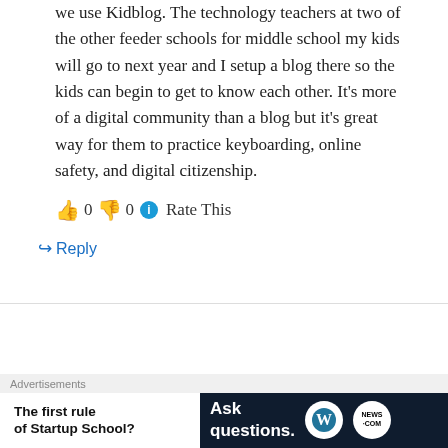we use Kidblog. The technology teachers at two of the other feeder schools for middle school my kids will go to next year and I setup a blog there so the kids can begin to get to know each other. It's more of a digital community than a blog but it's great way for them to practice keyboarding, online safety, and digital citizenship.
👍 0 👎 0 ℹ Rate This
↪ Reply
Advertisements
Need a website quickly —
Advertisements
The first rule of Startup School?
Ask questions.